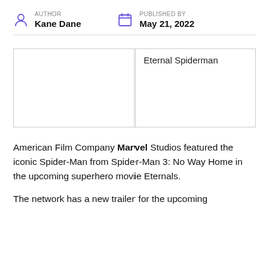AUTHOR Kane Dane | PUBLISHED BY May 21, 2022
|  | Eternal Spiderman |
American Film Company Marvel Studios featured the iconic Spider-Man from Spider-Man 3: No Way Home in the upcoming superhero movie Eternals.
The network has a new trailer for the upcoming